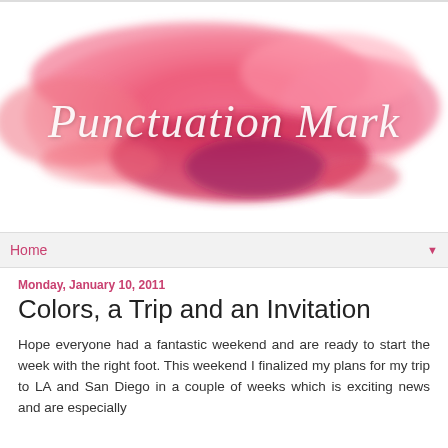[Figure (illustration): Watercolor red/pink splash background with white cursive text reading 'Punctuation Mark' — blog header image]
Home ▼
Monday, January 10, 2011
Colors, a Trip and an Invitation
Hope everyone had a fantastic weekend and are ready to start the week with the right foot. This weekend I finalized my plans for my trip to LA and San Diego in a couple of weeks which is exciting news and are especially...